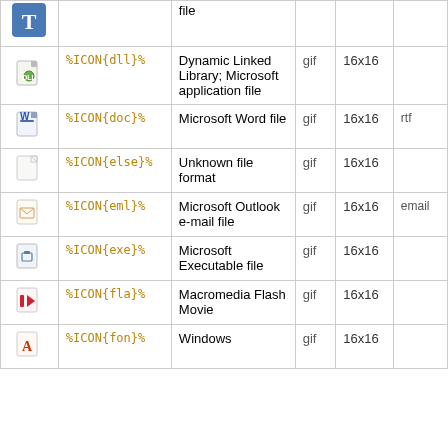| Icon | Variable | Description | Type | Size | Alias |
| --- | --- | --- | --- | --- | --- |
| [T icon] |  | file |  |  |  |
| [dll icon] | %ICON{dll}% | Dynamic Linked Library; Microsoft application file | gif | 16x16 |  |
| [doc icon] | %ICON{doc}% | Microsoft Word file | gif | 16x16 | rtf |
| [else icon] | %ICON{else}% | Unknown file format | gif | 16x16 |  |
| [eml icon] | %ICON{eml}% | Microsoft Outlook e-mail file | gif | 16x16 | email |
| [exe icon] | %ICON{exe}% | Microsoft Executable file | gif | 16x16 |  |
| [fla icon] | %ICON{fla}% | Macromedia Flash Movie | gif | 16x16 |  |
| [fon icon] | %ICON{fon}% | Windows... | gif | 16x16 |  |